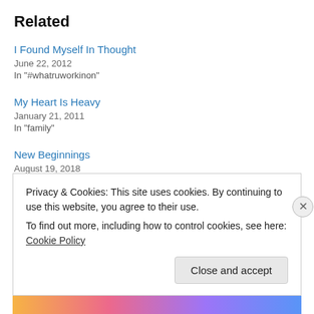Related
I Found Myself In Thought
June 22, 2012
In "#whatruworkinon"
My Heart Is Heavy
January 21, 2011
In "family"
New Beginnings
August 19, 2018
Privacy & Cookies: This site uses cookies. By continuing to use this website, you agree to their use.
To find out more, including how to control cookies, see here: Cookie Policy
Close and accept